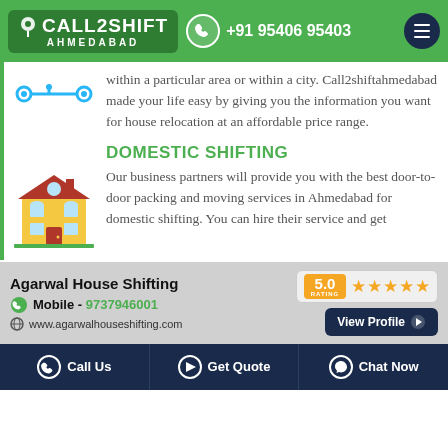CALL2SHIFT AHMEDABAD | +91 95406 95403
within a particular area or within a city. Call2shiftahmedabad made your life easy by giving you the information you want for house relocation at an affordable price range.
DOMESTIC SHIFTING
Our business partners will provide you with the best door-to-door packing and moving services in Ahmedabad for domestic shifting. You can hire their service and get
[Figure (infographic): Advertisement banner for Agarwal House Shifting with 5.0 rating and stars]
Call Us | Get Quote | Chat Now